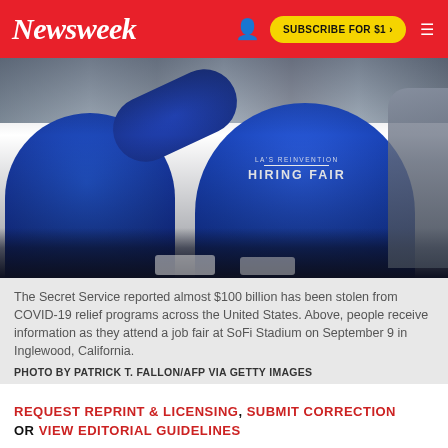Newsweek | SUBSCRIBE FOR $1 >
[Figure (photo): People at a job fair at SoFi Stadium wearing blue 'HIRING FAIR' shirts, one person reaching across a table]
The Secret Service reported almost $100 billion has been stolen from COVID-19 relief programs across the United States. Above, people receive information as they attend a job fair at SoFi Stadium on September 9 in Inglewood, California.
PHOTO BY PATRICK T. FALLON/AFP VIA GETTY IMAGES
REQUEST REPRINT & LICENSING, SUBMIT CORRECTION OR VIEW EDITORIAL GUIDELINES